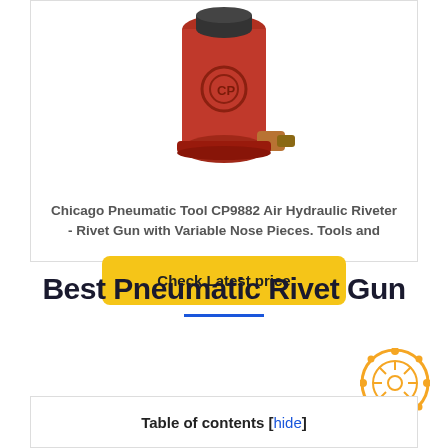[Figure (photo): Red Chicago Pneumatic CP9882 Air Hydraulic Riveter tool on white background]
Chicago Pneumatic Tool CP9882 Air Hydraulic Riveter - Rivet Gun with Variable Nose Pieces. Tools and
Check Latest price
Best Pneumatic Rivet Gun
Table of contents [hide]